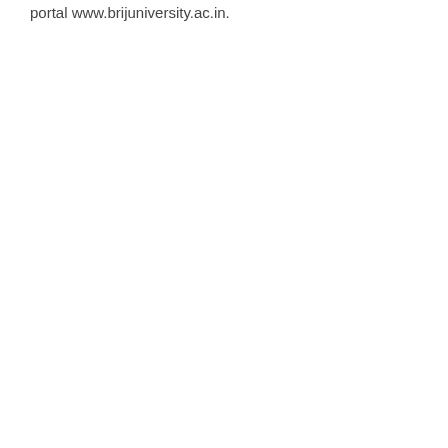portal www.brijuniversity.ac.in.